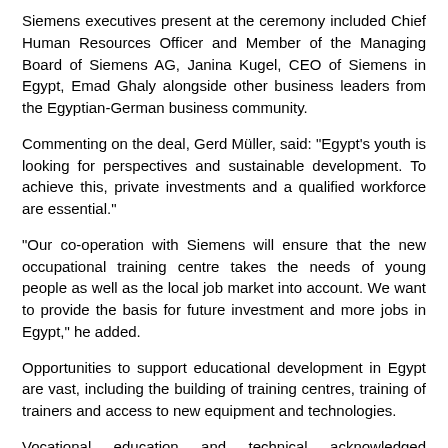Siemens executives present at the ceremony included Chief Human Resources Officer and Member of the Managing Board of Siemens AG, Janina Kugel, CEO of Siemens in Egypt, Emad Ghaly alongside other business leaders from the Egyptian-German business community.
Commenting on the deal, Gerd Müller, said: "Egypt's youth is looking for perspectives and sustainable development. To achieve this, private investments and a qualified workforce are essential."
"Our co-operation with Siemens will ensure that the new occupational training centre takes the needs of young people as well as the local job market into account. We want to provide the basis for future investment and more jobs in Egypt," he added.
Opportunities to support educational development in Egypt are vast, including the building of training centres, training of trainers and access to new equipment and technologies.
Vocational education and technical acknowledged accreditation are especially needed to support economic growth and to bridge the skills gap in the market.
"Siemens continues to invest in Egypt. In addition to supporting industrial growth of the country, we are committed to helping develop a pipeline of